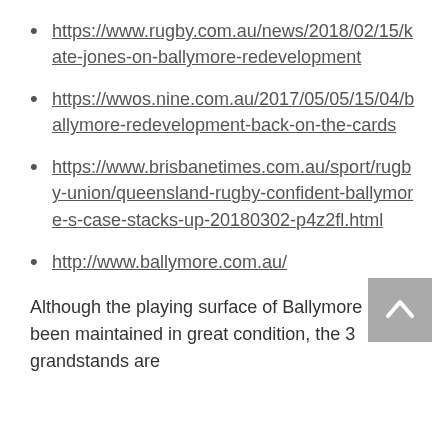https://www.rugby.com.au/news/2018/02/15/kate-jones-on-ballymore-redevelopment
https://wwos.nine.com.au/2017/05/05/15/04/ballymore-redevelopment-back-on-the-cards
https://www.brisbanetimes.com.au/sport/rugby-union/queensland-rugby-confident-ballymore-s-case-stacks-up-20180302-p4z2fl.html
http://www.ballymore.com.au/
Although the playing surface of Ballymore have been maintained in great condition, the 3 grandstands are